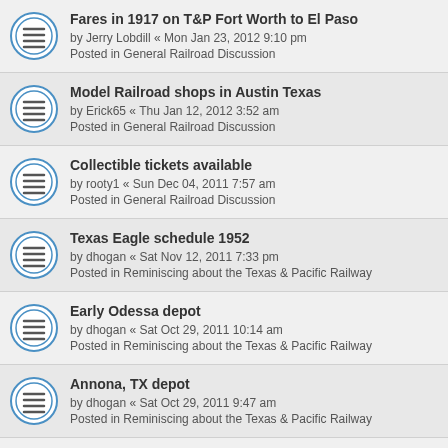Fares in 1917 on T&P Fort Worth to El Paso
by Jerry Lobdill « Mon Jan 23, 2012 9:10 pm
Posted in General Railroad Discussion
Model Railroad shops in Austin Texas
by Erick65 « Thu Jan 12, 2012 3:52 am
Posted in General Railroad Discussion
Collectible tickets available
by rooty1 « Sun Dec 04, 2011 7:57 am
Posted in General Railroad Discussion
Texas Eagle schedule 1952
by dhogan « Sat Nov 12, 2011 7:33 pm
Posted in Reminiscing about the Texas & Pacific Railway
Early Odessa depot
by dhogan « Sat Oct 29, 2011 10:14 am
Posted in Reminiscing about the Texas & Pacific Railway
Annona, TX depot
by dhogan « Sat Oct 29, 2011 9:47 am
Posted in Reminiscing about the Texas & Pacific Railway
Wreck of the T&P Cannon Ball 1903